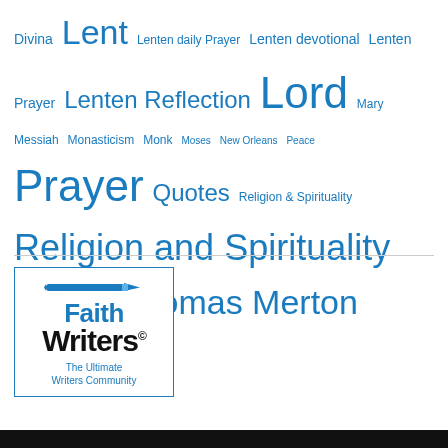Divina Lent Lenten daily Prayer Lenten devotional Lenten Prayer Lenten Reflection Lord Mary Messiah Monasticism Monk Moses New Orleans Peace Prayer Quotes Religion & Spirituality Religion and Spirituality Richard Rhor Sin Thomas Merton United States
[Figure (logo): FaithWriters logo with pencil icon, blue border, text: Faith Writers - The Ultimate Writers Community]